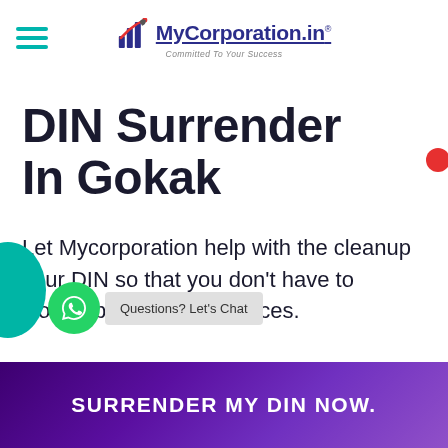[Figure (logo): MyCorporation.in logo with bar chart icon, tagline 'Committed To Your Success']
DIN Surrender In Gokak
Let Mycorporation help with the cleanup your DIN so that you don't have to worry about its compliances.
SURRENDER MY DIN NOW.